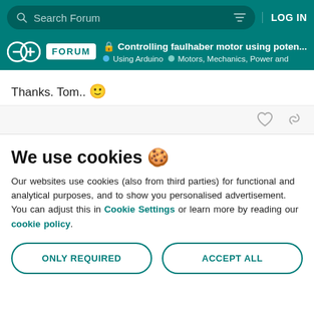Search Forum  LOG IN
FORUM  Controlling faulhaber motor using poten...  Using Arduino  Motors, Mechanics, Power and
Thanks. Tom.. 🙂
We use cookies 🍪
Our websites use cookies (also from third parties) for functional and analytical purposes, and to show you personalised advertisement. You can adjust this in Cookie Settings or learn more by reading our cookie policy.
ONLY REQUIRED
ACCEPT ALL